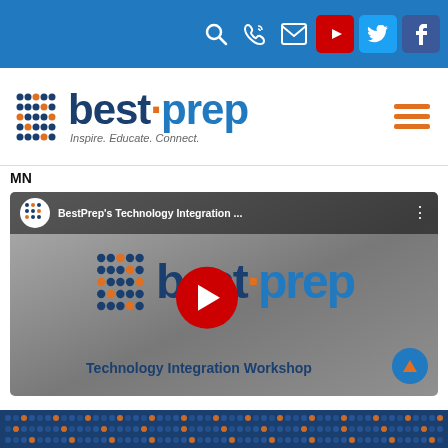[Figure (screenshot): BestPrep website header navigation bar with search, phone, email icons and YouTube, Twitter, Facebook social media buttons on blue background]
[Figure (logo): BestPrep logo with dot-grid icon, 'bestprep' text in navy and blue, tagline 'Inspire. Educate. Connect.' and orange hamburger menu icon]
MN
[Figure (screenshot): YouTube video thumbnail for BestPrep's Technology Integration Workshop showing bestprep logo, red play button, and blue circle with orange up-arrow]
[Figure (illustration): BestPrep footer with dark navy background and repeating dot grid pattern in navy and orange]